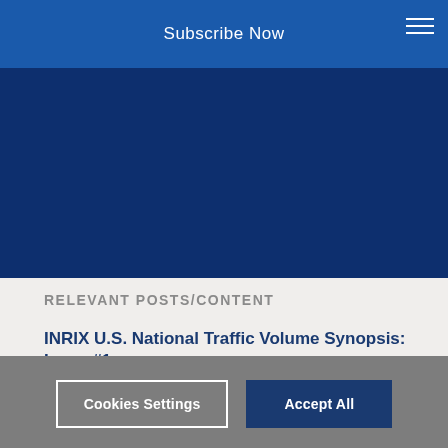Subscribe Now
[Figure (illustration): Dark blue background area below the header subscribe bar]
RELEVANT POSTS/CONTENT
INRIX U.S. National Traffic Volume Synopsis: Issue #1 (March 11–20, 2022)
By clicking “Accept All”, you agree to our use of cookies to save your preferences, analyze site usage, and send relevant ads.
Please see our Cookie Policy for more information.